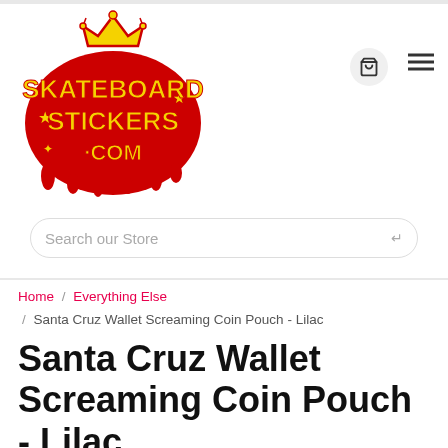[Figure (logo): SkateboardStickers.com graffiti-style logo with yellow text and red dripping paint outline, with a crown on top]
Search our Store
Home / Everything Else / Santa Cruz Wallet Screaming Coin Pouch - Lilac
Santa Cruz Wallet Screaming Coin Pouch - Lilac